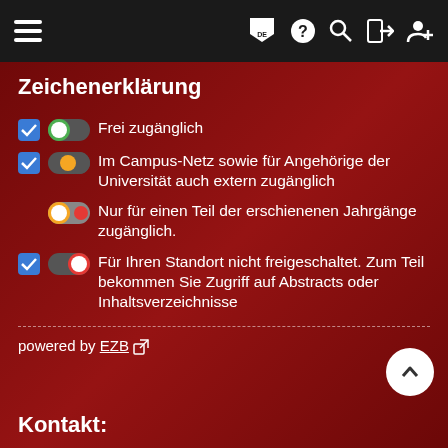Navigation bar with hamburger menu, flag/DE, help, search, login, and user icons
Zeichenerklärung
Frei zugänglich
Im Campus-Netz sowie für Angehörige der Universität auch extern zugänglich
Nur für einen Teil der erschienenen Jahrgänge zugänglich.
Für Ihren Standort nicht freigeschaltet. Zum Teil bekommen Sie Zugriff auf Abstracts oder Inhaltsverzeichnisse
powered by EZB
Kontakt: